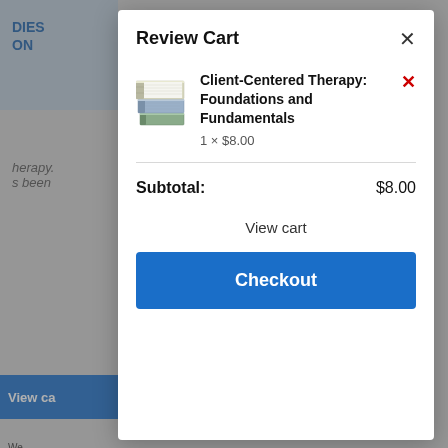Review Cart
[Figure (illustration): Stack of books representing the product image for Client-Centered Therapy]
Client-Centered Therapy: Foundations and Fundamentals
1 × $8.00
Subtotal: $8.00
View cart
Checkout